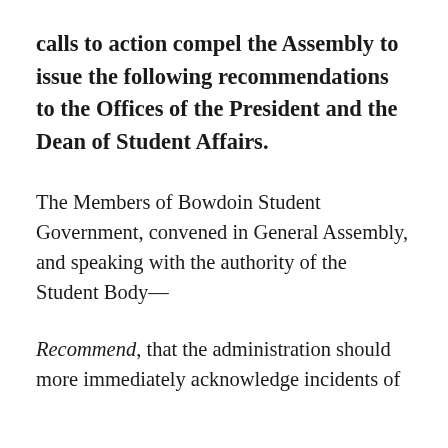calls to action compel the Assembly to issue the following recommendations to the Offices of the President and the Dean of Student Affairs.
The Members of Bowdoin Student Government, convened in General Assembly, and speaking with the authority of the Student Body—
Recommend, that the administration should more immediately acknowledge incidents of